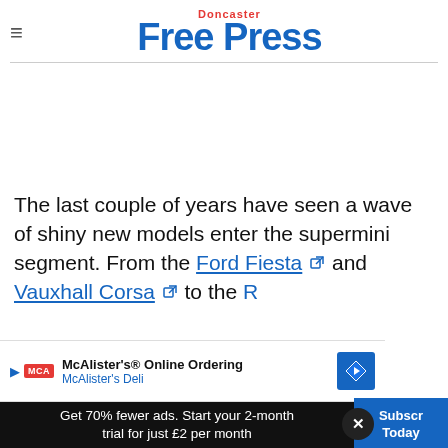Doncaster Free Press
[Figure (other): Advertisement placeholder (blank white space)]
The last couple of years have seen a wave of shiny new models enter the supermini segment. From the Ford Fiesta and Vauxhall Corsa to the R... y of the m...
[Figure (other): McAlister's Online Ordering ad banner — McAlister's Deli with blue diamond arrow icon]
Get 70% fewer ads. Start your 2-month trial for just £2 per month
Subscribe Today